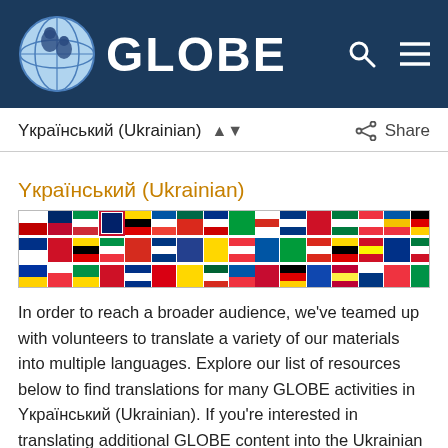GLOBE
Український (Ukrainian)
Український (Ukrainian)
[Figure (photo): A horizontal strip showing flags of many countries of the world arranged in a colorful collage.]
In order to reach a broader audience, we've teamed up with volunteers to translate a variety of our materials into multiple languages. Explore our list of resources below to find translations for many GLOBE activities in Український (Ukrainian). If you're interested in translating additional GLOBE content into the Ukrainian language, please reach out to our Community Support.